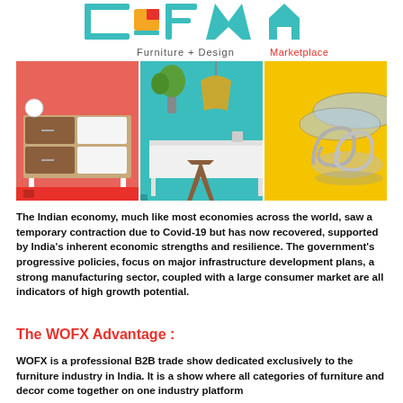[Figure (logo): WOFX logo with geometric shapes and text 'Furniture + Design Marketplace']
[Figure (photo): Three-panel collage of furniture: red-themed media console on left, teal-themed pendant lamp and wooden stool in center, yellow-themed glass coffee table on right]
The Indian economy, much like most economies across the world, saw a temporary contraction due to Covid-19 but has now recovered, supported by India's inherent economic strengths and resilience. The government's progressive policies, focus on major infrastructure development plans, a strong manufacturing sector, coupled with a large consumer market are all indicators of high growth potential.
The WOFX Advantage :
WOFX is a professional B2B trade show dedicated exclusively to the furniture industry in India. It is a show where all categories of furniture and decor come together on one industry platform